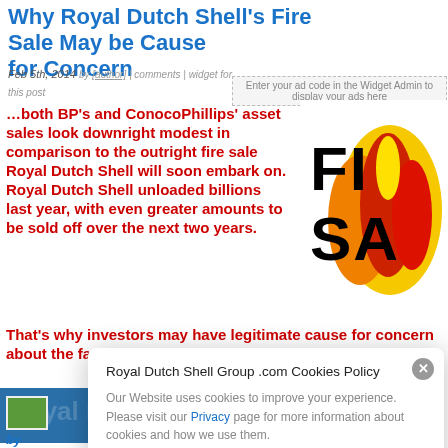Why Royal Dutch Shell's Fire Sale May be Cause for Concern
Feb 5th, 2014 by [author name] | comments | widget for this post
Enter your ad code in the Widget Admin to display your ads here
…both BP's and ConocoPhillips' asset sales look downright modest in comparison to the outright fire sale Royal Dutch Shell will soon embark on. Royal Dutch Shell unloaded billions last year, with even greater amounts to be sold off over the next two years. That's why investors may have legitimate cause for concern about the fate of Shell's future growth trajectory.
[Figure (illustration): Fire Sale graphic with flames and bold text reading FIRE SALE in red, yellow and orange]
Royal Dutch Shell Group .com Cookies Policy
Our Website uses cookies to improve your experience. Please visit our Privacy page for more information about cookies and how we use them.
by